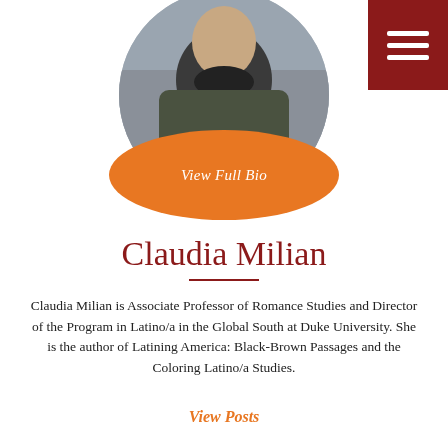[Figure (photo): Circular profile photo of Claudia Milian with orange oval overlay reading 'View Full Bio']
Claudia Milian
Claudia Milian is Associate Professor of Romance Studies and Director of the Program in Latino/a in the Global South at Duke University. She is the author of Latining America: Black-Brown Passages and the Coloring Latino/a Studies.
View Posts